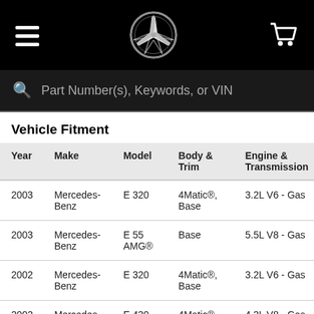Mercedes-Benz navigation header with hamburger menu, star logo, and cart icon
Part Number(s), Keywords, or VIN
Vehicle Fitment
| Year | Make | Model | Body & Trim | Engine & Transmission |
| --- | --- | --- | --- | --- |
| 2003 | Mercedes-Benz | E 320 | 4Matic®, Base | 3.2L V6 - Gas |
| 2003 | Mercedes-Benz | E 55 AMG® | Base | 5.5L V8 - Gas |
| 2002 | Mercedes-Benz | E 320 | 4Matic®, Base | 3.2L V6 - Gas |
| 2002 | Mercedes-Benz | E 430 | 4Matic®, Base | 4.3L V8 - Gas |
| 2002 | Mercedes-Benz | E 55 AMG® | Base | 5.5L V8 - Gas |